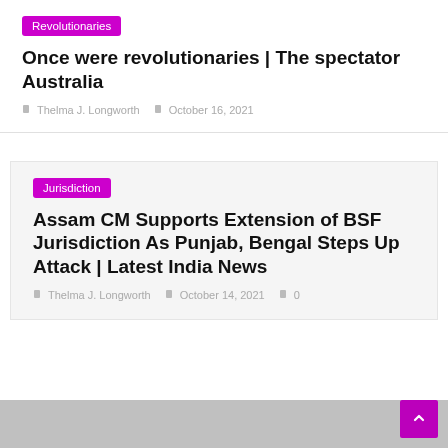Revolutionaries
Once were revolutionaries | The spectator Australia
Thelma J. Longworth   October 16, 2021
Jurisdiction
Assam CM Supports Extension of BSF Jurisdiction As Punjab, Bengal Steps Up Attack | Latest India News
Thelma J. Longworth   October 14, 2021   0